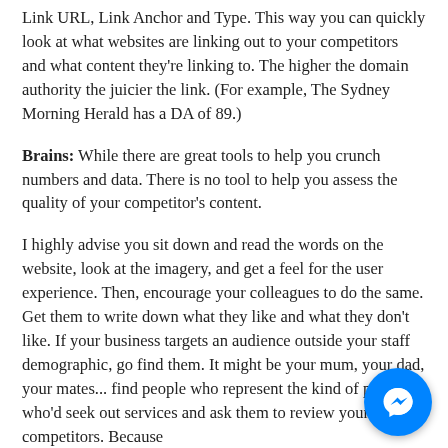Link URL, Link Anchor and Type. This way you can quickly look at what websites are linking out to your competitors and what content they're linking to. The higher the domain authority the juicier the link. (For example, The Sydney Morning Herald has a DA of 89.)
Brains: While there are great tools to help you crunch numbers and data. There is no tool to help you assess the quality of your competitor's content.
I highly advise you sit down and read the words on the website, look at the imagery, and get a feel for the user experience. Then, encourage your colleagues to do the same. Get them to write down what they like and what they don't like. If your business targets an audience outside your staff demographic, go find them. It might be your mum, your dad, your mates... find people who represent the kind of person who'd seek out services and ask them to review your competitors. Because
[Figure (illustration): Blue circular Facebook Messenger chat button in bottom right corner]